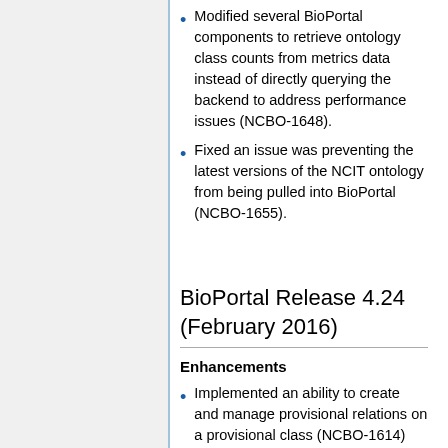Modified several BioPortal components to retrieve ontology class counts from metrics data instead of directly querying the backend to address performance issues (NCBO-1648).
Fixed an issue was preventing the latest versions of the NCIT ontology from being pulled into BioPortal (NCBO-1655).
BioPortal Release 4.24 (February 2016)
Enhancements
Implemented an ability to create and manage provisional relations on a provisional class (NCBO-1614)